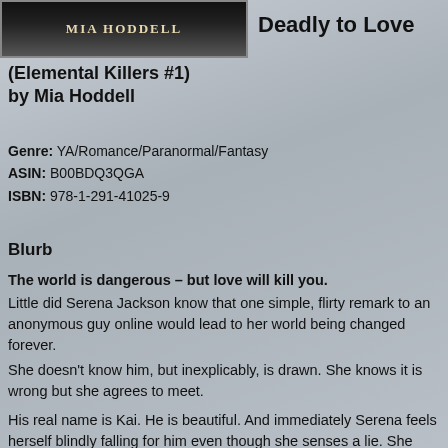[Figure (photo): Book cover image showing 'MIA HODDELL' text on a dark background with a figure]
Deadly to Love (Elemental Killers #1) by Mia Hoddell
Genre: YA/Romance/Paranormal/Fantasy
ASIN: B00BDQ3QGA
ISBN: 978-1-291-41025-9
Blurb
The world is dangerous – but love will kill you.
Little did Serena Jackson know that one simple, flirty remark to an anonymous guy online would lead to her world being changed forever.
She doesn't know him, but inexplicably, is drawn. She knows it is wrong but she agrees to meet.
His real name is Kai. He is beautiful. And immediately Serena feels herself blindly falling for him even though she senses a lie. She knows he is hiding something and it